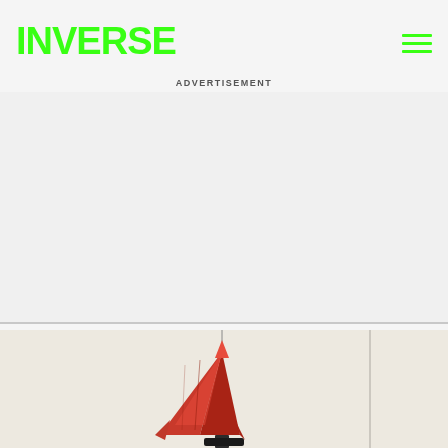Earth).
INVERSE
ADVERTISEMENT
[Figure (photo): A red rocket-shaped object hanging against a light beige/cream background, with a vertical divider line on the right side of the image]